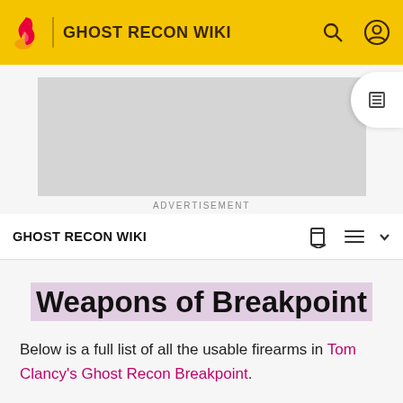GHOST RECON WIKI
[Figure (screenshot): Advertisement placeholder box (grey rectangle)]
ADVERTISEMENT
GHOST RECON WIKI
Weapons of Breakpoint
Below is a full list of all the usable firearms in Tom Clancy's Ghost Recon Breakpoint.